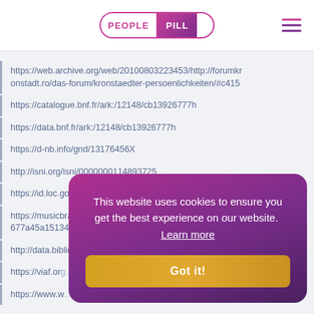PEOPLE PILL
https://web.archive.org/web/20100803223453/http://forumkronstadt.ro/das-forum/kronstaedter-persoenlichkeiten/#c415
https://catalogue.bnf.fr/ark:/12148/cb13926777h
https://data.bnf.fr/ark:/12148/cb13926777h
https://d-nb.info/gnd/13176456X
http://isni.org/isni/0000000114893725
https://id.loc.gov/authorities/names/n85182168
https://musicbrainz.org/artist/bd863012-5c06-40d2-b4da-677a45a15134
http://data.bibliotheken.nl/id/thes/p069031746
https://viaf.org/...
https://www.w...
This website uses cookies to ensure you get the best experience on our website. Learn more
Facebook Twitter Reddit LinkedIn WhatsApp